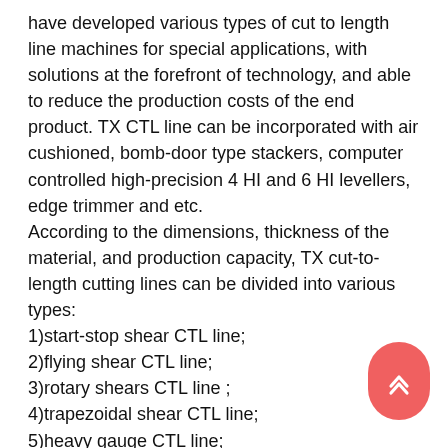have developed various types of cut to length line machines for special applications, with solutions at the forefront of technology, and able to reduce the production costs of the end product. TX CTL line can be incorporated with air cushioned, bomb-door type stackers, computer controlled high-precision 4 HI and 6 HI levellers, edge trimmer and etc.
According to the dimensions, thickness of the material, and production capacity, TX cut-to-length cutting lines can be divided into various types:
1)start-stop shear CTL line;
2)flying shear CTL line;
3)rotary shears CTL line ;
4)trapezoidal shear CTL line;
5)heavy gauge CTL line;
6)flat bar cut to length line
If you have any questions about the fagor slitting line or